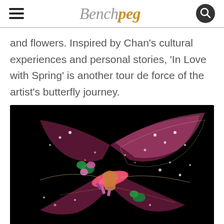Benchpeg
and flowers. Inspired by Chan's cultural experiences and personal stories, 'In Love with Spring' is another tour de force of the artist's butterfly journey.
[Figure (photo): Close-up macro photograph of an ornate jewelled butterfly brooch against a black background, featuring a large marquise-cut pink/red gemstone at the centre, surrounded by intricate metalwork encrusted with diamonds, emeralds, rubies, and coloured gemstones forming butterfly wings]